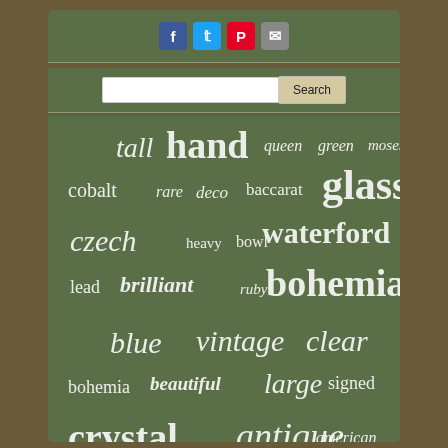[Figure (screenshot): Website screenshot showing social share buttons (Facebook, Twitter, Pinterest, Email), a search bar, and a tag/word cloud on a green background. Word cloud contains terms: tall, hand, queen, green, moser, cobalt, rare, deco, baccarat, glass, czech, heavy, bowl, waterford, lead, brilliant, ruby, bohemian, blue, vintage, clear, bohemia, beautiful, large, signed, crystal, antique, american, vases, footed, cased, gold, lace, flower, vase]